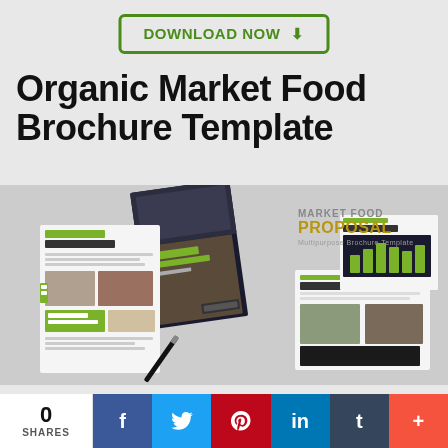[Figure (other): Download Now button with green border and arrow icon]
Organic Market Food Brochure Template
[Figure (photo): Brochure mockup showing Market Food Company template pages spread open with green design elements, bar charts, sale reports, and cover page with MARKET FOOD PROPOSAL text]
[Figure (other): Social sharing bar: 0 SHARES, Facebook, Twitter, Pinterest, LinkedIn, Tumblr, Plus buttons]